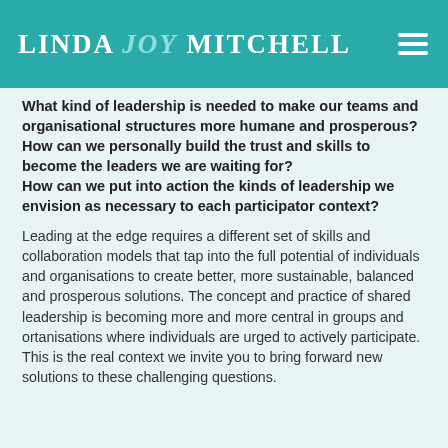LINDA JOY MITCHELL
What kind of leadership is needed to make our teams and organisational structures more humane and prosperous? How can we personally build the trust and skills to become the leaders we are waiting for?
How can we put into action the kinds of leadership we envision as necessary to each participator context?
Leading at the edge requires a different set of skills and collaboration models that tap into the full potential of individuals and organisations to create better, more sustainable, balanced and prosperous solutions. The concept and practice of shared leadership is becoming more and more central in groups and ortanisations where individuals are urged to actively participate.  This is the real context we invite you to bring forward new solutions to these challenging questions.